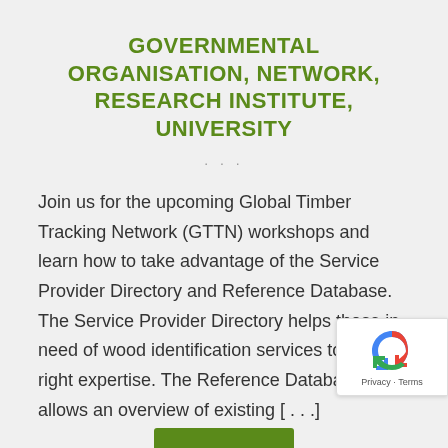GOVERNMENTAL ORGANISATION, NETWORK, RESEARCH INSTITUTE, UNIVERSITY
Join us for the upcoming Global Timber Tracking Network (GTTN) workshops and learn how to take advantage of the Service Provider Directory and Reference Database. The Service Provider Directory helps those in need of wood identification services to find the right expertise. The Reference Database allows an overview of existing [...]